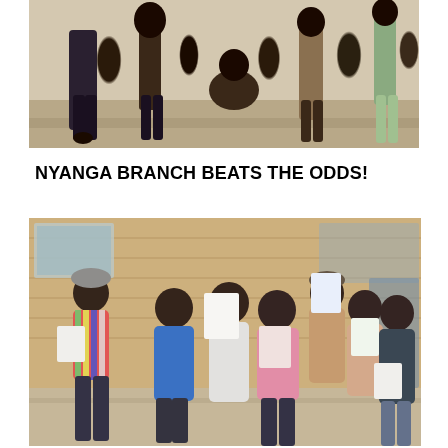[Figure (photo): Group photo of people outdoors, partially cropped at top of page]
NYANGA BRANCH BEATS THE ODDS!
[Figure (photo): Group of young people standing in front of a brick wall building, holding papers and celebrating]